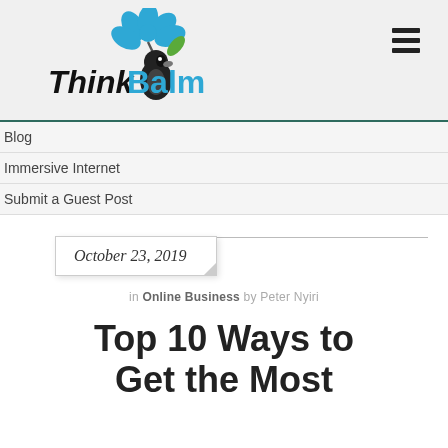[Figure (logo): ThinkBalm logo with blue flower and black penguin-like character]
Blog
Immersive Internet
Submit a Guest Post
October 23, 2019
in Online Business by Peter Nyiri
Top 10 Ways to Get the Most